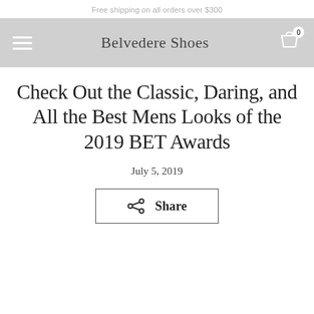Free shipping on all orders over $300
Belvedere Shoes
Check Out the Classic, Daring, and All the Best Mens Looks of the 2019 BET Awards
July 5, 2019
Share